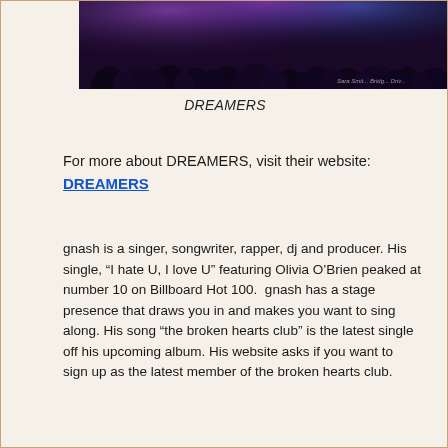[Figure (photo): Concert crowd photo with purple/dark stage lighting and crowd silhouettes. Watermark text visible at bottom right.]
DREAMERS
For more about DREAMERS, visit their website:
DREAMERS
gnash is a singer, songwriter, rapper, dj and producer. His single, “I hate U, I love U” featuring Olivia O’Brien peaked at number 10 on Billboard Hot 100.  gnash has a stage presence that draws you in and makes you want to sing along. His song “the broken hearts club” is the latest single off his upcoming album. His website asks if you want to sign up as the latest member of the broken hearts club.